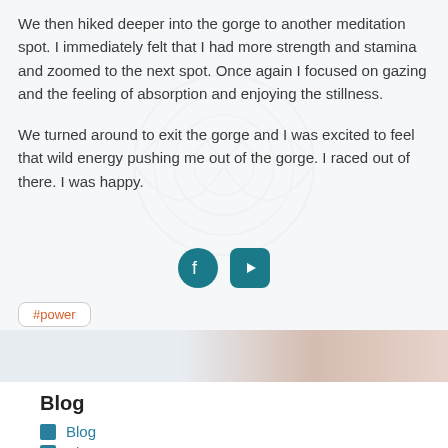We then hiked deeper into the gorge to another meditation spot.  I immediately felt that I had more strength and stamina and zoomed to the next spot.   Once again I focused on gazing and the feeling of absorption and enjoying the stillness.
We turned around to exit the gorge and I was excited to feel that wild energy pushing me out of the gorge.  I raced out of there.  I was happy.
[Figure (other): Social media icons: Facebook circle icon and YouTube rounded rectangle icon, both in teal/dark cyan color]
#power
[Figure (photo): Partial photo showing warm-toned image at the bottom of the article section]
Blog
Blog
About Us